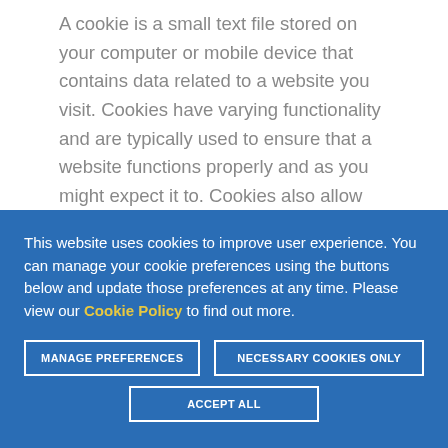A cookie is a small text file stored on your computer or mobile device that contains data related to a website you visit. Cookies have varying functionality and are typically used to ensure that a website functions properly and as you might expect it to. Cookies also allow
This website uses cookies to improve user experience. You can manage your cookie preferences using the buttons below and update those preferences at any time. Please view our Cookie Policy to find out more.